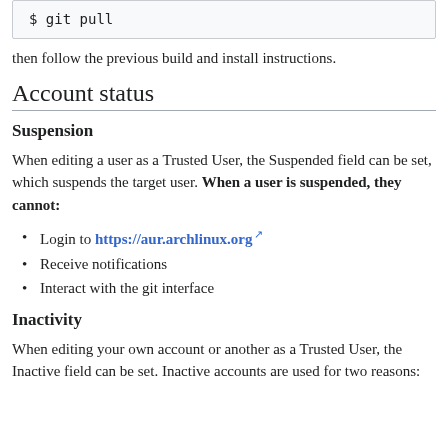$ git pull
then follow the previous build and install instructions.
Account status
Suspension
When editing a user as a Trusted User, the Suspended field can be set, which suspends the target user. When a user is suspended, they cannot:
Login to https://aur.archlinux.org
Receive notifications
Interact with the git interface
Inactivity
When editing your own account or another as a Trusted User, the Inactive field can be set. Inactive accounts are used for two reasons: